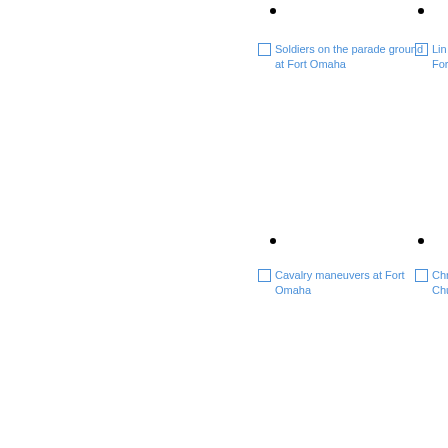Soldiers on the parade ground at Fort Omaha
Lin... For...
Cavalry maneuvers at Fort Omaha
Chr... Chu...